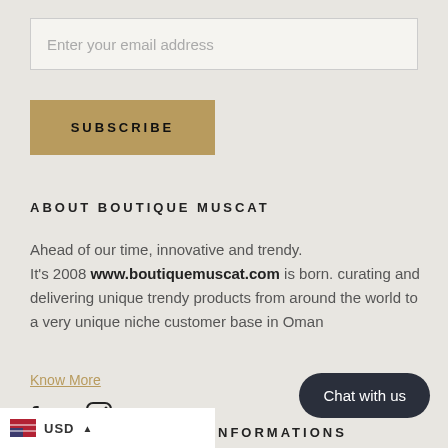Enter your email address
SUBSCRIBE
ABOUT BOUTIQUE MUSCAT
Ahead of our time, innovative and trendy. It's 2008 www.boutiquemuscat.com is born. curating and delivering unique trendy products from around the world to a very unique niche customer base in Oman
Know More
[Figure (other): Facebook and Instagram social media icons]
Chat with us
USD NFORMATIONS